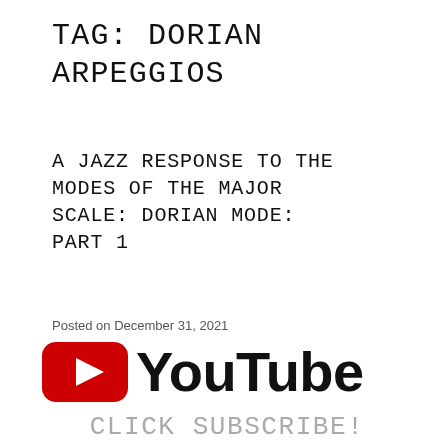TAG: DORIAN ARPEGGIOS
A JAZZ RESPONSE TO THE MODES OF THE MAJOR SCALE: DORIAN MODE: PART 1
Posted on December 31, 2021
[Figure (logo): YouTube logo with red play button icon and black YouTube wordmark text]
CLICK SUBSCRIBE!